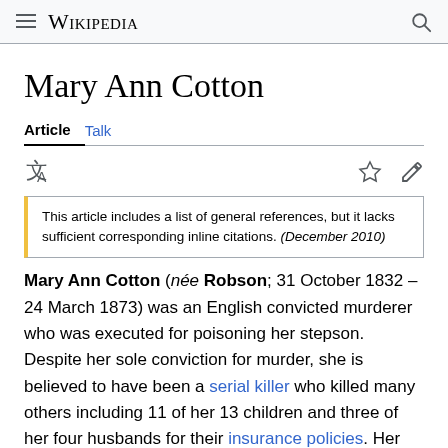Wikipedia
Mary Ann Cotton
Article  Talk
This article includes a list of general references, but it lacks sufficient corresponding inline citations. (December 2010)
Mary Ann Cotton (née Robson; 31 October 1832 – 24 March 1873) was an English convicted murderer who was executed for poisoning her stepson. Despite her sole conviction for murder, she is believed to have been a serial killer who killed many others including 11 of her 13 children and three of her four husbands for their insurance policies. Her preferred method of killing was poisoning